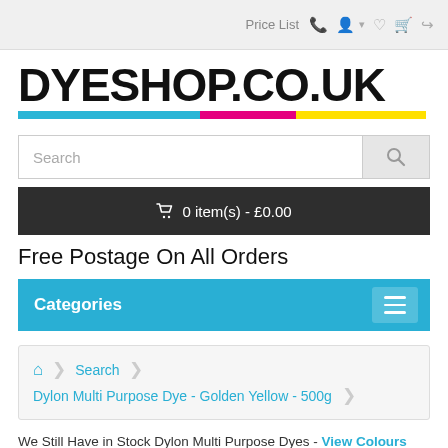Price List
[Figure (logo): DYESHOP.CO.UK logo with cyan, magenta, and yellow color bar beneath bold black text]
Search
🛒 0 item(s) - £0.00
Free Postage On All Orders
Categories
Search > Dylon Multi Purpose Dye - Golden Yellow - 500g
We Still Have in Stock Dylon Multi Purpose Dyes - View Colours
All orders sent out with Royal Mail First Class Post